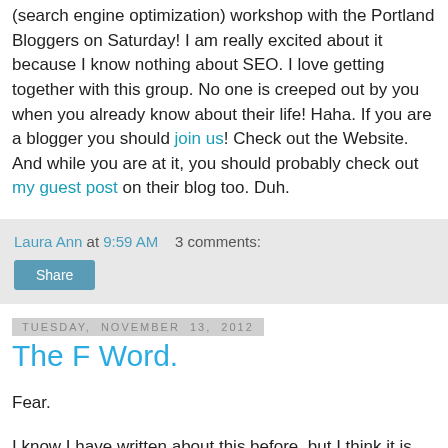(search engine optimization) workshop with the Portland Bloggers on Saturday! I am really excited about it because I know nothing about SEO. I love getting together with this group. No one is creeped out by you when you already know about their life! Haha. If you are a blogger you should join us! Check out the Website. And while you are at it, you should probably check out my guest post on their blog too. Duh.
Laura Ann at 9:59 AM    3 comments:
Share
Tuesday, November 13, 2012
The F Word.
Fear.
I know I have written about this before, but I think it is the kind of thing that needs to be mentioned regularly.